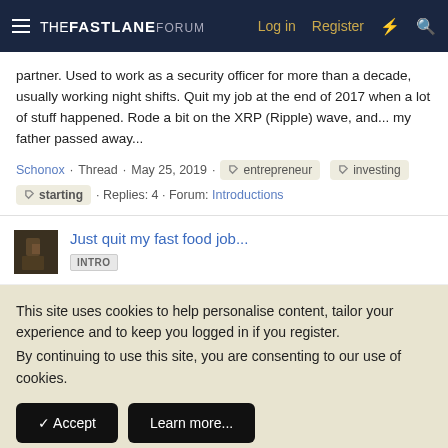THE FASTLANE FORUM — Log in | Register
partner. Used to work as a security officer for more than a decade, usually working night shifts. Quit my job at the end of 2017 when a lot of stuff happened. Rode a bit on the XRP (Ripple) wave, and... my father passed away...
Schonox · Thread · May 25, 2019 · entrepreneur · investing · starting · Replies: 4 · Forum: Introductions
Just quit my fast food job...
INTRO
This site uses cookies to help personalise content, tailor your experience and to keep you logged in if you register. By continuing to use this site, you are consenting to our use of cookies.